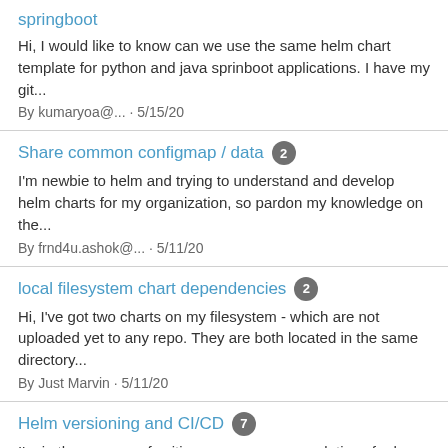springboot
Hi, I would like to know can we use the same helm chart template for python and java sprinboot applications. I have my git...
By kumaryoa@... · 5/15/20
Share common configmap / data [2]
I'm newbie to helm and trying to understand and develop helm charts for my organization, so pardon my knowledge on the...
By frnd4u.ashok@... · 5/11/20
local filesystem chart dependencies [2]
Hi, I've got two charts on my filesystem - which are not uploaded yet to any repo. They are both located in the same directory...
By Just Marvin · 5/11/20
Helm versioning and CI/CD [7]
I'm in the process of writing up my recommendations for how to integrate Helm into our build and deployment infrastructure. I...
By Loritsch, Berin · 5/04/20
[Figure (screenshot): Bottom navigation bar with a chat bubble icon button and a hamburger menu icon]